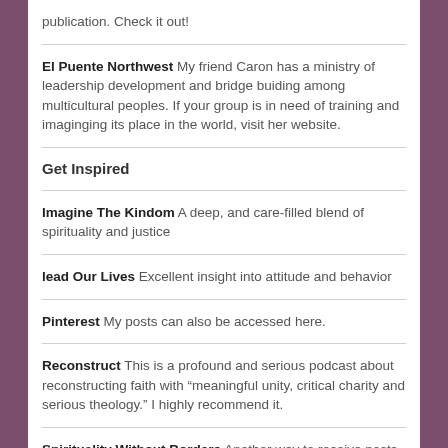publication. Check it out!
El Puente Northwest My friend Caron has a ministry of leadership development and bridge buiding among multicultural peoples. If your group is in need of training and imaginging its place in the world, visit her website.
Get Inspired
Imagine The Kindom A deep, and care-filled blend of spirituality and justice
lead Our Lives Excellent insight into attitude and behavior
Pinterest My posts can also be accessed here.
Reconstruct This is a profound and serious podcast about reconstructing faith with "meaningful unity, critical charity and serious theology." I highly recommend it.
Spirituality Without Borders Another way to receive posts